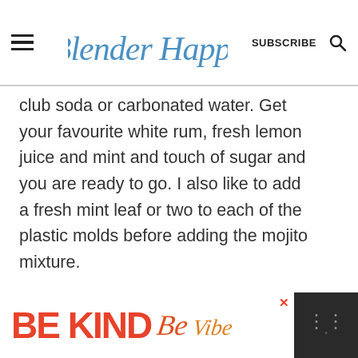Blender Happy — SUBSCRIBE
club soda or carbonated water. Get your favourite white rum, fresh lemon juice and mint and touch of sugar and you are ready to go. I also like to add a fresh mint leaf or two to each of the plastic molds before adding the mojito mixture.
[Figure (photo): Blurred light blue/purple background photo, partial view of mojito ice pops content]
[Figure (infographic): What's Next card showing DIY Ice Pops - a cool trend with thumbnail image]
[Figure (infographic): Advertisement banner: BE KIND with decorative script text on white background, close button, and dark right panel]